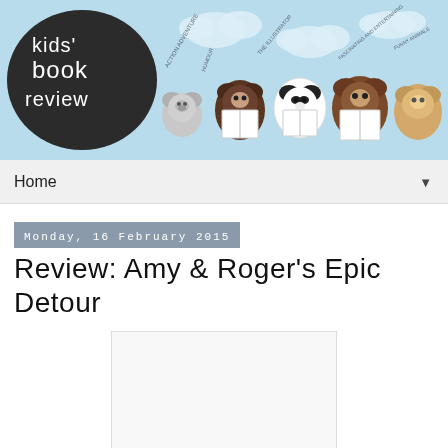[Figure (illustration): Kids' Book Review website header banner featuring a logo with the text 'kids' book review' in a dark oval on the left, and illustrated cartoon bears/animals reading books on a light blue background with clouds and floating text on the right.]
Home ▼
Monday, 16 February 2015
Review: Amy & Roger's Epic Detour
[Figure (illustration): Book cover image placeholder (white/grey rectangle)]